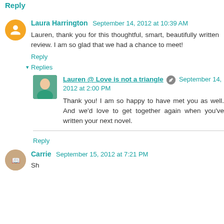Reply (partial at top)
Laura Harrington  September 14, 2012 at 10:39 AM
Lauren, thank you for this thoughtful, smart, beautifully written review. I am so glad that we had a chance to meet!
Reply
Replies
Lauren @ Love is not a triangle  September 14, 2012 at 2:00 PM
Thank you! I am so happy to have met you as well. And we'd love to get together again when you've written your next novel.
Reply
Carrie  September 15, 2012 at 7:21 PM
She had a lot to say about this one but it seems she liked it well...